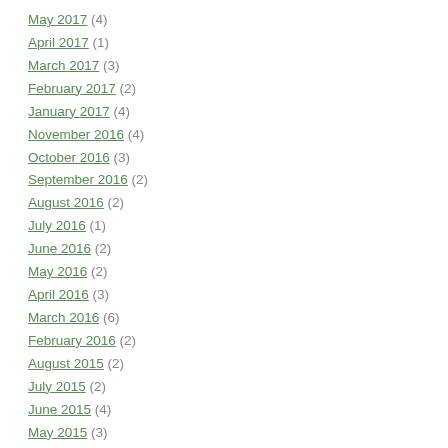May 2017 (4)
April 2017 (1)
March 2017 (3)
February 2017 (2)
January 2017 (4)
November 2016 (4)
October 2016 (3)
September 2016 (2)
August 2016 (2)
July 2016 (1)
June 2016 (2)
May 2016 (2)
April 2016 (3)
March 2016 (6)
February 2016 (2)
August 2015 (2)
July 2015 (2)
June 2015 (4)
May 2015 (3)